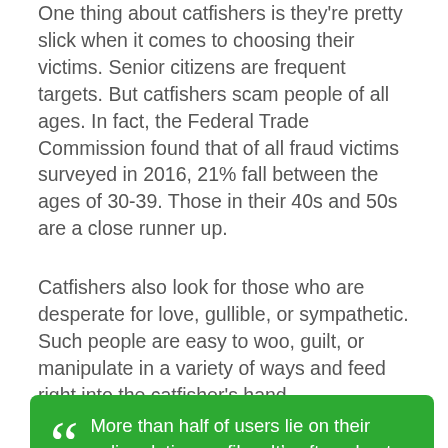One thing about catfishers is they're pretty slick when it comes to choosing their victims. Senior citizens are frequent targets. But catfishers scam people of all ages. In fact, the Federal Trade Commission found that of all fraud victims surveyed in 2016, 21% fall between the ages of 30-39. Those in their 40s and 50s are a close runner up.
Catfishers also look for those who are desperate for love, gullible, or sympathetic. Such people are easy to woo, guilt, or manipulate in a variety of ways and feed right into the catfisher's hand.
More than half of users lie on their online dating profiles. It's often about age, weight or height. Catfishers, however, are a whole different breed